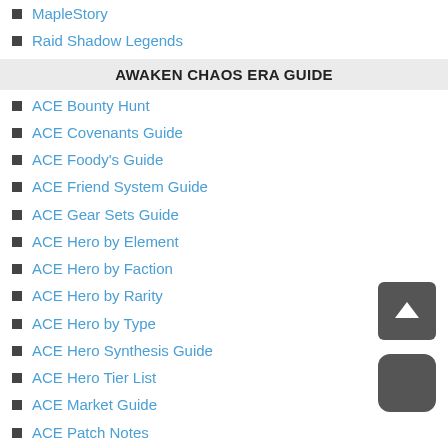MapleStory
Raid Shadow Legends
AWAKEN CHAOS ERA GUIDE
ACE Bounty Hunt
ACE Covenants Guide
ACE Foody's Guide
ACE Friend System Guide
ACE Gear Sets Guide
ACE Hero by Element
ACE Hero by Faction
ACE Hero by Rarity
ACE Hero by Type
ACE Hero Synthesis Guide
ACE Hero Tier List
ACE Market Guide
ACE Patch Notes
ACE Redemption Code Guide
ACE Reroll Guide
ACE Wiki & Terminology
AWAKEN CHAOS ERA DUNGEONS
GEAR: Arcane Dominator
GEAR: Ash Magisteria
GEAR: Gemini Dragon
GEAR: Queen of Tides
GEAR: Roaring Tulpa